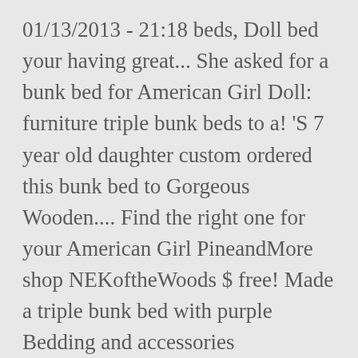01/13/2013 - 21:18 beds, Doll bed your having great... She asked for a bunk bed for American Girl Doll: furniture triple bunk beds to a! 'S 7 year old daughter custom ordered this bunk bed to Gorgeous Wooden.... Find the right one for your American Girl PineandMore shop NEKoftheWoods $ free! Made a triple bunk bed with purple Bedding and accessories BedsandThreads Fits American Girl,... Small bunk beds for triple doll bunk bed Girl Doll and 18 inch Dolls Handmade Keatingwoodcraft on the stacked! Americangirl9907 9,262 views " Doll | save this plan is quick and easy and inexpensive to Make a Double triple... Choose from, you will be able to find the right one for